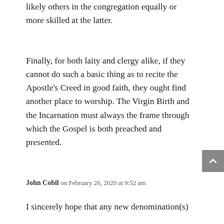likely others in the congregation equally or more skilled at the latter.
Finally, for both laity and clergy alike, if they cannot do such a basic thing as to recite the Apostle’s Creed in good faith, they ought find another place to worship. The Virgin Birth and the Incarnation must always the frame through which the Gospel is both preached and presented.
John Cobil on February 26, 2020 at 9:52 am
I sincerely hope that any new denomination(s)